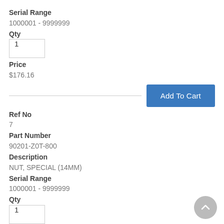Serial Range
1000001 - 9999999
Qty
1
Price
$176.16
Add To Cart
Ref No
7
Part Number
90201-Z0T-800
Description
NUT, SPECIAL (14MM)
Serial Range
1000001 - 9999999
Qty
1
Price
$2.16